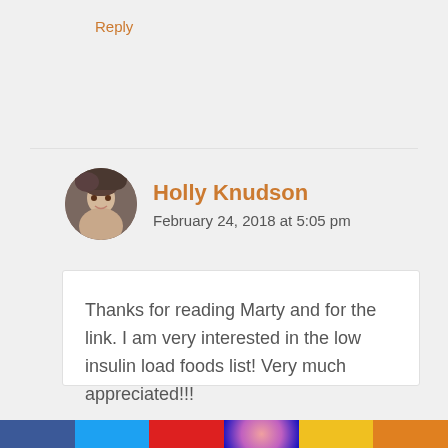Reply
Holly Knudson
February 24, 2018 at 5:05 pm
Thanks for reading Marty and for the link. I am very interested in the low insulin load foods list! Very much appreciated!!!
Reply